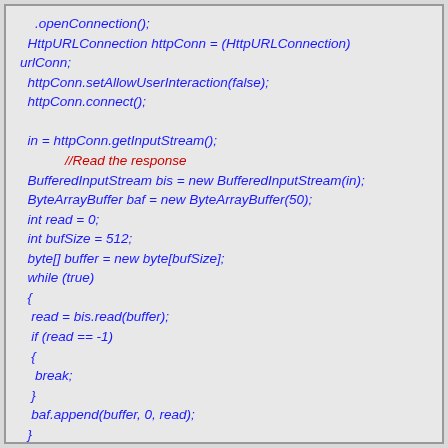Code snippet showing Java HTTP connection code including openConnection(), HttpURLConnection cast, setAllowUserInteraction, connect, getInputStream, BufferedInputStream, ByteArrayBuffer, while loop reading buffer